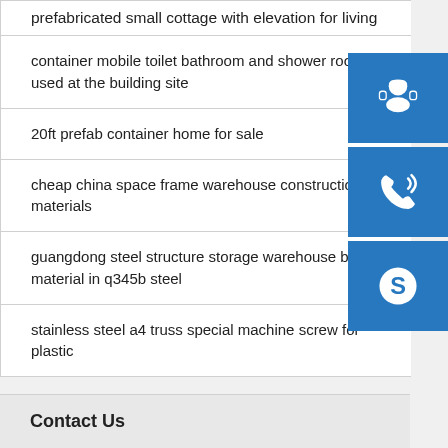prefabricated small cottage with elevation for living
container mobile toilet bathroom and shower room used at the building site
20ft prefab container home for sale
cheap china space frame warehouse construction materials
guangdong steel structure storage warehouse building material in q345b steel
stainless steel a4 truss special machine screw for plastic
Contact Us